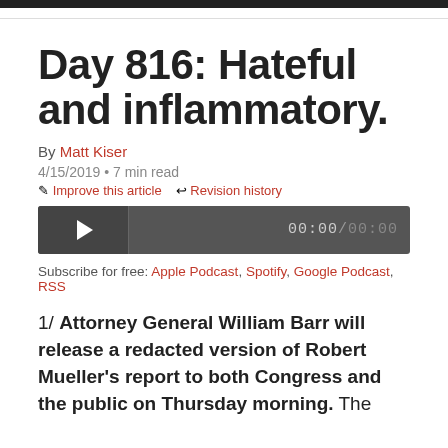Day 816: Hateful and inflammatory.
By Matt Kiser
4/15/2019 • 7 min read
✎ Improve this article  ↩ Revision history
[Figure (other): Audio player with play button, progress bar, and time display showing 00:00 / 00:00]
Subscribe for free: Apple Podcast, Spotify, Google Podcast, RSS
1/ Attorney General William Barr will release a redacted version of Robert Mueller's report to both Congress and the public on Thursday morning. The